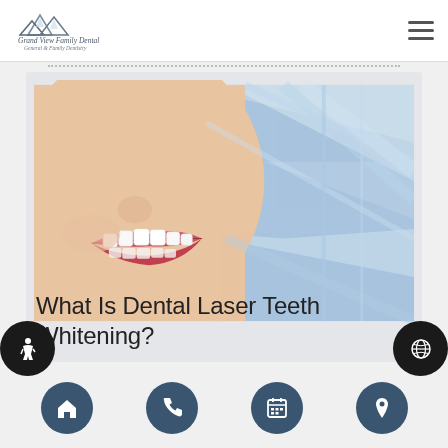[Figure (logo): Mountain-themed dental practice logo with script text reading 'Grand View Family Dental, General & Family Dentistry']
[Figure (photo): Close-up photo of a woman smiling with bright white teeth, set against a blue abstract background, representing dental laser teeth whitening]
What Is Dental Laser Teeth Whitening?
[Figure (illustration): Accessibility icon (wheelchair symbol) in a black circle, bottom left]
[Figure (illustration): Globe icon in a black circle, bottom right]
[Figure (infographic): Bottom navigation bar with four dark teal circular icon buttons: home, phone, calendar, and location pin]